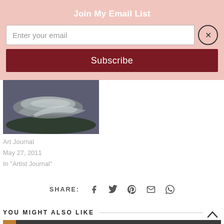Join My Email List
Enter your email
Subscribe
[Figure (photo): Painting of a reclining figure in grey tones on a dark background]
Art Journal
May 27, 2011
In "Artist Journal"
SHARE:
YOU MIGHT ALSO LIKE
[Figure (photo): Dark grey surface with a tan/orange strip on left side, bottom of page]